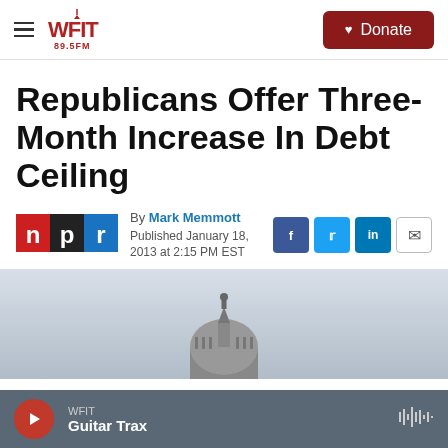WFIT 89.5FM | Donate
Republicans Offer Three-Month Increase In Debt Ceiling
By Mark Memmott
Published January 18, 2013 at 2:15 PM EST
[Figure (logo): NPR logo with n, p, r letters in red, black, and blue squares]
[Figure (photo): Photo showing the top of a government building dome (likely US Capitol) against a sky background]
WFIT | Guitar Trax